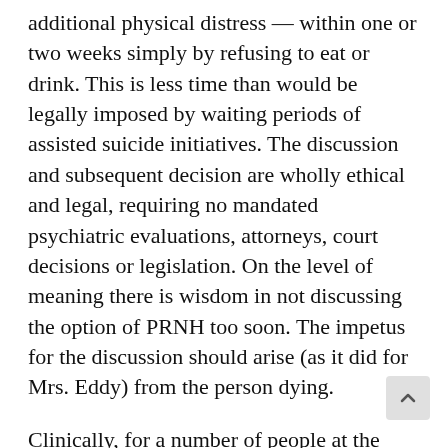additional physical distress — within one or two weeks simply by refusing to eat or drink. This is less time than would be legally imposed by waiting periods of assisted suicide initiatives. The discussion and subsequent decision are wholly ethical and legal, requiring no mandated psychiatric evaluations, attorneys, court decisions or legislation. On the level of meaning there is wisdom in not discussing the option of PRNH too soon. The impetus for the discussion should arise (as it did for Mrs. Eddy) from the person dying.
Clinically, for a number of people at the very end of life, the decision to refuse food and fluid may not arise from depression or emotional denial as much as from a felt sense of “being done”. Most such persons I have encountered one way or another.